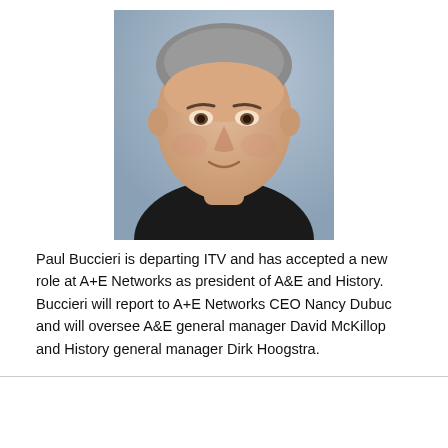[Figure (photo): Headshot of Paul Buccieri, a middle-aged man with short gray hair wearing a dark suit and white shirt, photographed against a light blue/gray background.]
Paul Buccieri is departing ITV and has accepted a new role at A+E Networks as president of A&E and History. Buccieri will report to A+E Networks CEO Nancy Dubuc and will oversee A&E general manager David McKillop and History general manager Dirk Hoogstra.